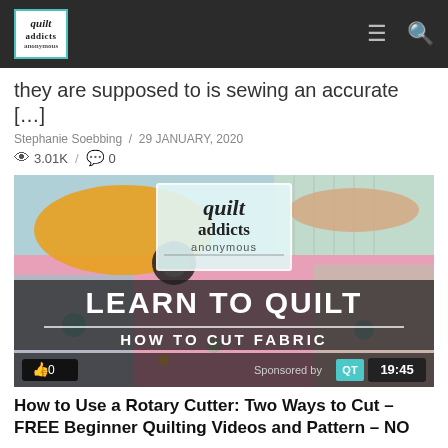Quilt Addicts Anonymous — navigation bar with logo, menu and search icons
they are supposed to is sewing an accurate […]
Stephanie Soebbing / 29 JANUARY, 2020
3.01K / 0
[Figure (screenshot): Video thumbnail showing hands using a rotary cutter on quilting fabric with a Quilt Addicts Anonymous logo overlay and text 'LEARN TO QUILT — HOW TO CUT FABRIC'. Bottom bar shows thumbs up 0, Sponsored by QT, and duration 19:45.]
How to Use a Rotary Cutter: Two Ways to Cut – FREE Beginner Quilting Videos and Pattern – NO